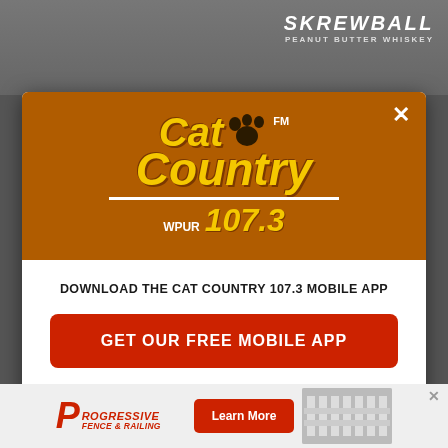[Figure (screenshot): Modal popup dialog over a website background. Background shows a dark overlay with a Skrewball Peanut Butter Whiskey logo in top-right. Modal has an orange header with Cat Country FM WPUR 107.3 radio logo, white body with text 'DOWNLOAD THE CAT COUNTRY 107.3 MOBILE APP', a red 'GET OUR FREE MOBILE APP' button, and 'Also listen on: [Alexa icon] amazon alexa' text. Bottom shows a Progressive Fence & Railing advertisement banner with 'Learn More' button.]